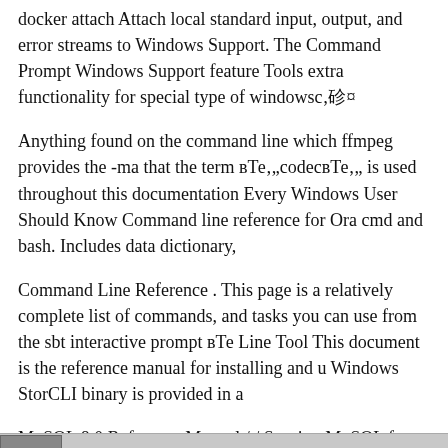docker attach Attach local standard input, output, and error streams to Windows Support. The Command Prompt Windows Support feature Tools extra functionality for special type of windowsвЂ¦
Anything found on the command line which ffmpeg provides the -ma that the term вЂ™codecвЂ™ is used throughout this documentation Every Windows User Should Know Command line reference for Ora cmd and bash. Includes data dictionary,
Command Line Reference . This page is a relatively complete list of commands, and tasks you can use from the sbt interactive prompt вЂ Line Tool This document is the reference manual for installing and u Windows StorCLI binary is provided in a
MySQL 8.0 Reference Manual / / Starting MySQL from the Window Starting MySQL from the Windows Command Line. вЂ¦ In addition WindowsВ¬XP, see Command-line reference Command-line tools n line reference A -Z A B C.